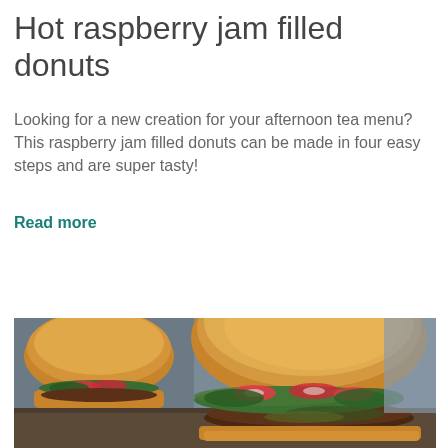Hot raspberry jam filled donuts
Looking for a new creation for your afternoon tea menu? This raspberry jam filled donuts can be made in four easy steps and are super tasty!
Read more
More ideas
[Figure (photo): Two gourmet burgers / sliders with radish slices, greens/watercress and meat patties on brioche buns, photographed on a wooden surface with a gray background]